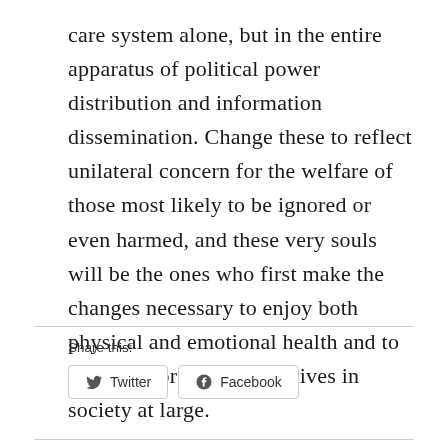care system alone, but in the entire apparatus of political power distribution and information dissemination. Change these to reflect unilateral concern for the welfare of those most likely to be ignored or even harmed, and these very souls will be the ones who first make the changes necessary to enjoy both physical and emotional health and to making vibrant, creative lives in society at large.
Share this:
Twitter  Facebook